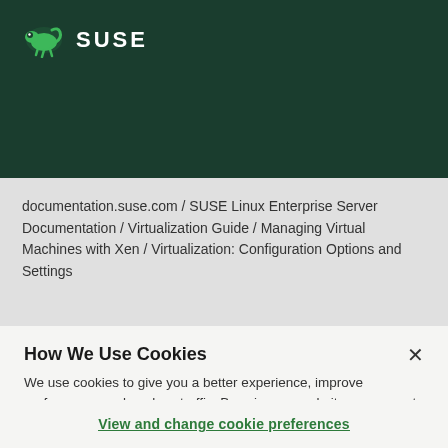[Figure (logo): SUSE chameleon logo with SUSE text in white on dark green background]
documentation.suse.com / SUSE Linux Enterprise Server Documentation / Virtualization Guide / Managing Virtual Machines with Xen / Virtualization: Configuration Options and Settings
How We Use Cookies
We use cookies to give you a better experience, improve performance and analyze traffic. By using our website you agree to our use of cookies.
View and change cookie preferences